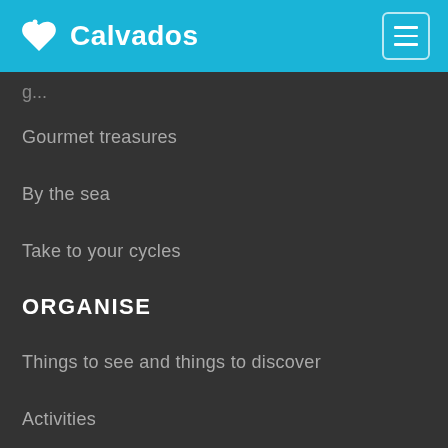Calvados
Gourmet treasures
By the sea
Take to your cycles
ORGANISE
Things to see and things to discover
Activities
Restaurants
Accommodation